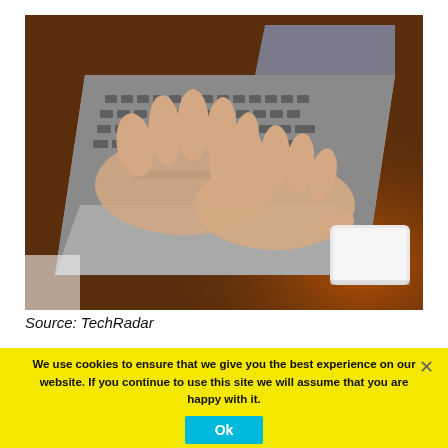[Figure (photo): Overhead view of a person's hands typing on a laptop keyboard on a wooden desk, with a white external hard drive to the right.]
Source: TechRadar
We use cookies to ensure that we give you the best experience on our website. If you continue to use this site we will assume that you are happy with it.